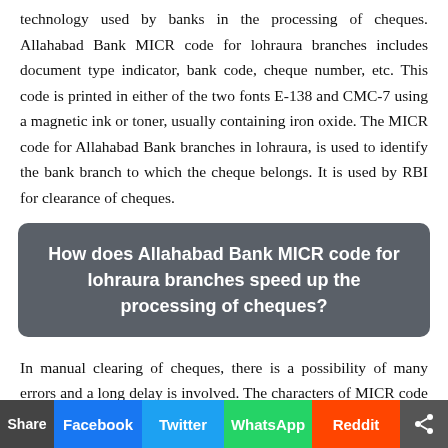technology used by banks in the processing of cheques. Allahabad Bank MICR code for lohraura branches includes document type indicator, bank code, cheque number, etc. This code is printed in either of the two fonts E-138 and CMC-7 using a magnetic ink or toner, usually containing iron oxide. The MICR code for Allahabad Bank branches in lohraura, is used to identify the bank branch to which the cheque belongs. It is used by RBI for clearance of cheques.
How does Allahabad Bank MICR code for lohraura branches speed up the processing of cheques?
In manual clearing of cheques, there is a possibility of many errors and a long delay is involved. The characters of MICR code for a Allahabad Bank lohraura branch, sprinted using magnetic ink, are passed before a MICR reader. Initially the ink gets magnetized and when it is read, each character